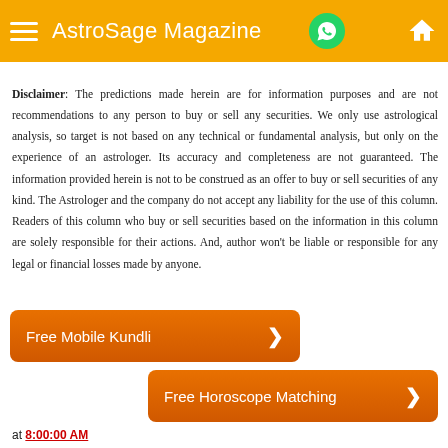AstroSage Magazine
Disclaimer: The predictions made herein are for information purposes and are not recommendations to any person to buy or sell any securities. We only use astrological analysis, so target is not based on any technical or fundamental analysis, but only on the experience of an astrologer. Its accuracy and completeness are not guaranteed. The information provided herein is not to be construed as an offer to buy or sell securities of any kind. The Astrologer and the company do not accept any liability for the use of this column. Readers of this column who buy or sell securities based on the information in this column are solely responsible for their actions. And, author won't be liable or responsible for any legal or financial losses made by anyone.
[Figure (other): Orange button labeled 'Free Mobile Kundli' with chevron arrow]
[Figure (other): Orange button labeled 'Free Horoscope Matching' with chevron arrow]
at 8:00:00 AM